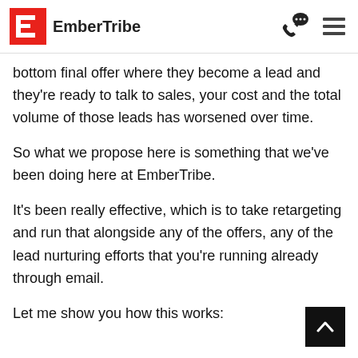EmberTribe
bottom final offer where they become a lead and they're ready to talk to sales, your cost and the total volume of those leads has worsened over time.
So what we propose here is something that we've been doing here at EmberTribe.
It's been really effective, which is to take retargeting and run that alongside any of the offers, any of the lead nurturing efforts that you're running already through email.
Let me show you how this works: